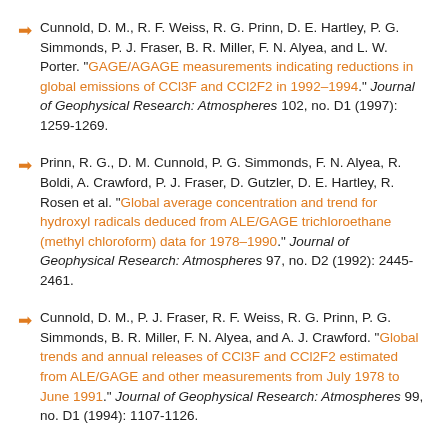Cunnold, D. M., R. F. Weiss, R. G. Prinn, D. E. Hartley, P. G. Simmonds, P. J. Fraser, B. R. Miller, F. N. Alyea, and L. W. Porter. "GAGE/AGAGE measurements indicating reductions in global emissions of CCl3F and CCl2F2 in 1992–1994." Journal of Geophysical Research: Atmospheres 102, no. D1 (1997): 1259-1269.
Prinn, R. G., D. M. Cunnold, P. G. Simmonds, F. N. Alyea, R. Boldi, A. Crawford, P. J. Fraser, D. Gutzler, D. E. Hartley, R. Rosen et al. "Global average concentration and trend for hydroxyl radicals deduced from ALE/GAGE trichloroethane (methyl chloroform) data for 1978–1990." Journal of Geophysical Research: Atmospheres 97, no. D2 (1992): 2445-2461.
Cunnold, D. M., P. J. Fraser, R. F. Weiss, R. G. Prinn, P. G. Simmonds, B. R. Miller, F. N. Alyea, and A. J. Crawford. "Global trends and annual releases of CCl3F and CCl2F2 estimated from ALE/GAGE and other measurements from July 1978 to June 1991." Journal of Geophysical Research: Atmospheres 99, no. D1 (1994): 1107-1126.
Simmonds, P. G., D. M. Cunnold, R. F. Weiss, R. G. Prinn, P. J. ...